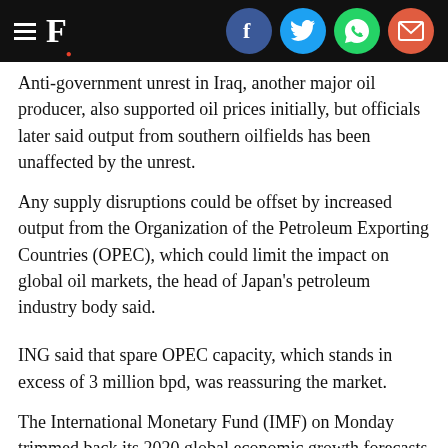Financial Post (F.) logo with social sharing icons: Facebook, Twitter, WhatsApp, Email
Anti-government unrest in Iraq, another major oil producer, also supported oil prices initially, but officials later said output from southern oilfields has been unaffected by the unrest.
Any supply disruptions could be offset by increased output from the Organization of the Petroleum Exporting Countries (OPEC), which could limit the impact on global oil markets, the head of Japan's petroleum industry body said.
ING said that spare OPEC capacity, which stands in excess of 3 million bpd, was reassuring the market.
The International Monetary Fund (IMF) on Monday trimmed back its 2020 global economic growth forecasts by a tenth of a percentage point to 3.3% because of sharper than expected slowdowns in India and other emerging markets. But the IMF said a U.S.-China trade deal was another sign that trade and manufacturing activity could soon bottom out.